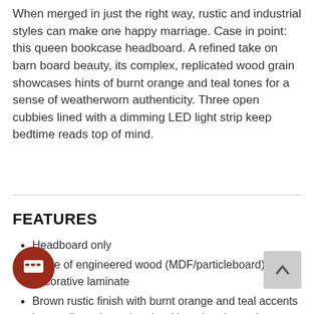When merged in just the right way, rustic and industrial styles can make one happy marriage. Case in point: this queen bookcase headboard. A refined take on barn board beauty, its complex, replicated wood grain showcases hints of burnt orange and teal tones for a sense of weatherworn authenticity. Three open cubbies lined with a dimming LED light strip keep bedtime reads top of mind.
FEATURES
Headboard only
Made of engineered wood (MDF/particleboard) and decorative laminate
Brown rustic finish with burnt orange and teal accents in a replicated wood grain with authentic touch
Headboard includes a dimming LED light
1/4" bolts are needed to attach headboard to